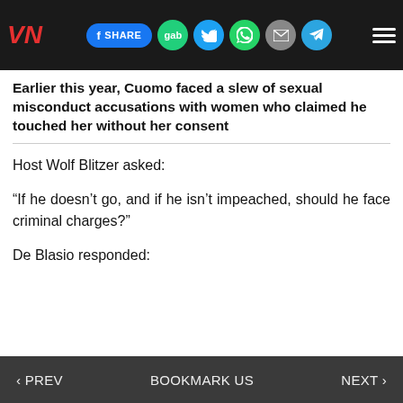VN | f SHARE | gab | Twitter | WhatsApp | Mail | Telegram | Menu
Earlier this year, Cuomo faced a slew of sexual misconduct accusations with women who claimed he touched her without her consent
Host Wolf Blitzer asked:
“If he doesn’t go, and if he isn’t impeached, should he face criminal charges?”
De Blasio responded:
‹ PREV    BOOKMARK US    NEXT ›